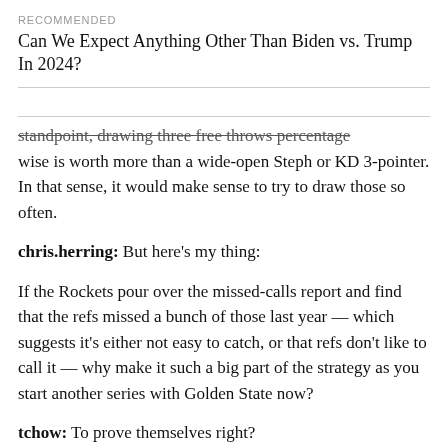RECOMMENDED
Can We Expect Anything Other Than Biden vs. Trump In 2024?
standpoint, drawing three free throws percentage wise is worth more than a wide-open Steph or KD 3-pointer. In that sense, it would make sense to try to draw those so often.
chris.herring: But here's my thing:
If the Rockets pour over the missed-calls report and find that the refs missed a bunch of those last year — which suggests it's either not easy to catch, or that refs don't like to call it — why make it such a big part of the strategy as you start another series with Golden State now?
tchow: To prove themselves right?
chris.herring: Idk. Part of me feels like the basketball